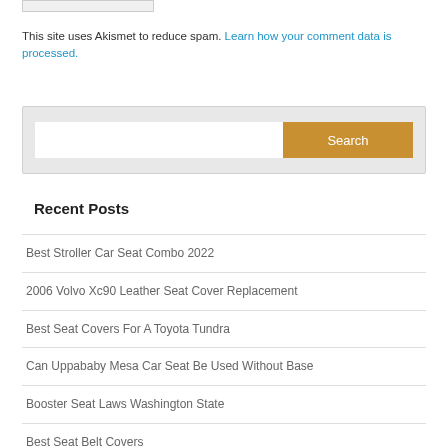[Figure (other): Small input box partially visible at top of page]
This site uses Akismet to reduce spam. Learn how your comment data is processed.
[Figure (other): Search bar with text input field and gold Search button]
Recent Posts
Best Stroller Car Seat Combo 2022
2006 Volvo Xc90 Leather Seat Cover Replacement
Best Seat Covers For A Toyota Tundra
Can Uppababy Mesa Car Seat Be Used Without Base
Booster Seat Laws Washington State
Best Seat Belt Covers